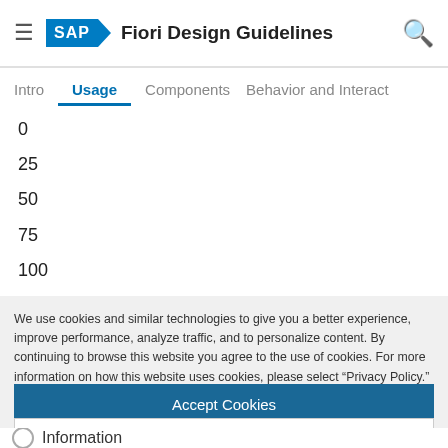SAP Fiori Design Guidelines
Intro | Usage | Components | Behavior and Interact
0
25
50
75
100
We use cookies and similar technologies to give you a better experience, improve performance, analyze traffic, and to personalize content. By continuing to browse this website you agree to the use of cookies. For more information on how this website uses cookies, please select “Privacy Policy.” To opt-out of cookies, please select “More Information.”
Accept Cookies
More Information
Privacy Policy | Powered by: TrustArc
Information